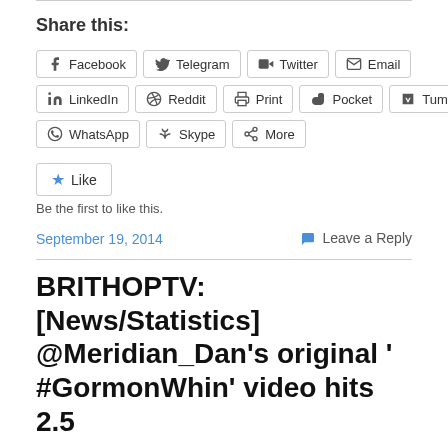Share this:
Facebook
Telegram
Twitter
Email
LinkedIn
Reddit
Print
Pocket
Tumblr
WhatsApp
Skype
More
Like
Be the first to like this.
September 19, 2014
Leave a Reply
BRITHOPTV: [News/Statistics] @Meridian_Dan's original '#GarmonWhin' video hits 2.5...